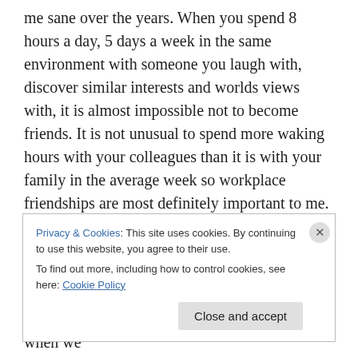me sane over the years. When you spend 8 hours a day, 5 days a week in the same environment with someone you laugh with, discover similar interests and worlds views with, it is almost impossible not to become friends. It is not unusual to spend more waking hours with your colleagues than it is with your family in the average week so workplace friendships are most definitely important to me. In the enforced intimacy of an office environment, I have met some brilliant, supportive, funny and kind people (and you all know who you are).  I have even managed to sustain friendships with a good number of you when we
Privacy & Cookies: This site uses cookies. By continuing to use this website, you agree to their use.
To find out more, including how to control cookies, see here: Cookie Policy